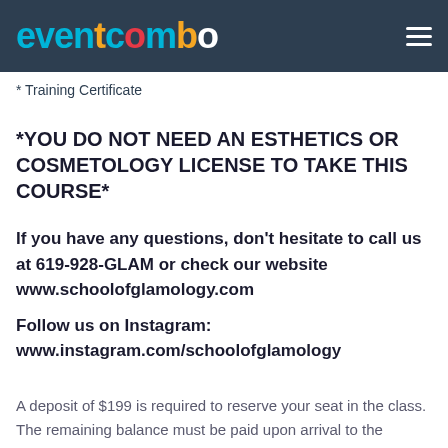EVENTCOMBO
* Training Certificate
*YOU DO NOT NEED AN ESTHETICS OR COSMETOLOGY LICENSE TO TAKE THIS COURSE*
If you have any questions, don't hesitate to call us at 619-928-GLAM or check our website www.schoolofglamology.com
Follow us on Instagram: www.instagram.com/schoolofglamology
A deposit of $199 is required to reserve your seat in the class. The remaining balance must be paid upon arrival to the course. Register now because classes are limited in